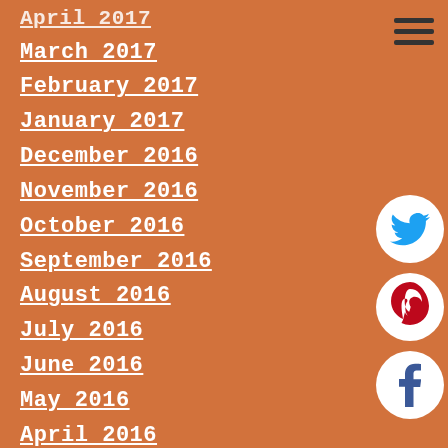[Figure (infographic): Hamburger menu icon (three horizontal lines) in top right corner]
April 2017
March 2017
February 2017
January 2017
December 2016
November 2016
October 2016
September 2016
August 2016
July 2016
June 2016
May 2016
April 2016
March 2016
February 2016
January 2016
December 2015
[Figure (infographic): Twitter social media icon - teal circle with white bird]
[Figure (infographic): Pinterest social media icon - white circle with dark red P]
[Figure (infographic): Facebook social media icon - white circle with dark blue f]